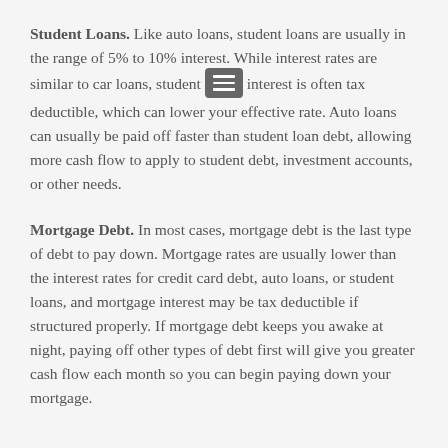Student Loans. Like auto loans, student loans are usually in the range of 5% to 10% interest. While interest rates are similar to car loans, student interest is often tax deductible, which can lower your effective rate. Auto loans can usually be paid off faster than student loan debt, allowing more cash flow to apply to student debt, investment accounts, or other needs.
Mortgage Debt. In most cases, mortgage debt is the last type of debt to pay down. Mortgage rates are usually lower than the interest rates for credit card debt, auto loans, or student loans, and mortgage interest may be tax deductible if structured properly. If mortgage debt keeps you awake at night, paying off other types of debt first will give you greater cash flow each month so you can begin paying down your mortgage.